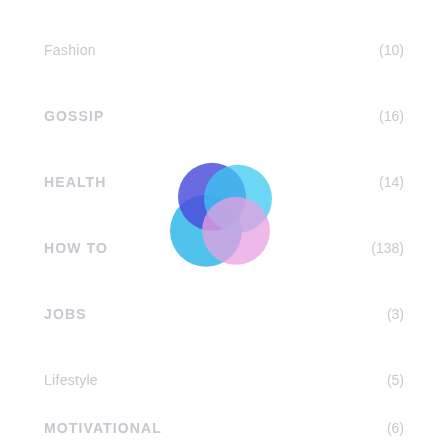Fashion (10)
GOSSIP (16)
HEALTH (14)
HOW TO (138)
[Figure (logo): Overlapping circles logo in blue, indigo, cyan, and pink colors]
JOBS (3)
Lifestyle (5)
MOTIVATIONAL (6)